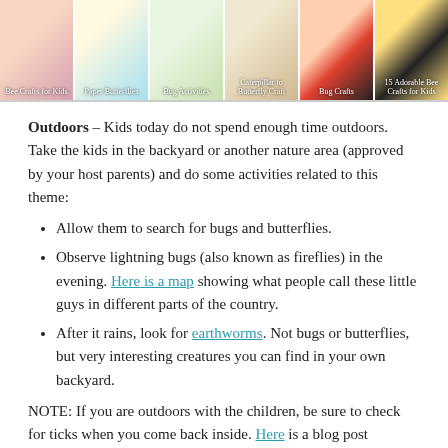[Figure (photo): A collage/strip of six thumbnail images related to bug and butterfly crafts and activities for kids, including paper butterflies, caterpillar to butterfly craft, bee crafts, and children doing activities.]
Outdoors – Kids today do not spend enough time outdoors. Take the kids in the backyard or another nature area (approved by your host parents) and do some activities related to this theme:
Allow them to search for bugs and butterflies.
Observe lightning bugs (also known as fireflies) in the evening. Here is a map showing what people call these little guys in different parts of the country.
After it rains, look for earthworms. Not bugs or butterflies, but very interesting creatures you can find in your own backyard.
NOTE: If you are outdoors with the children, be sure to check for ticks when you come back inside. Here is a blog post